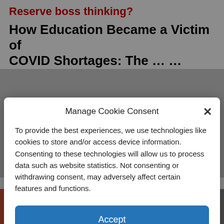Reserve boss thinking?
How Education Became a Victim of COVID Shortages: The...
Manage Cookie Consent
To provide the best experiences, we use technologies like cookies to store and/or access device information. Consenting to these technologies will allow us to process data such as website statistics. Not consenting or withdrawing consent, may adversely affect certain features and functions.
Accept
Cookie Policy  Privacy Policy